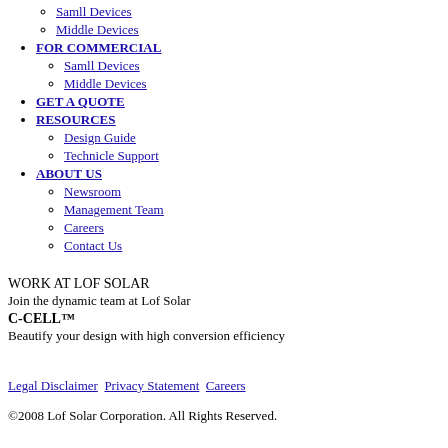FOR RESIDENTIAL (partial, top cut off)
Samll Devices
Middle Devices
FOR COMMERCIAL
Samll Devices
Middle Devices
GET A QUOTE
RESOURCES
Design Guide
Technicle Support
ABOUT US
Newsroom
Management Team
Careers
Contact Us
WORK AT LOF SOLAR
Join the dynamic team at Lof Solar
C-CELL™
Beautify your design with high conversion efficiency
Legal Disclaimer   Privacy Statement   Careers
©2008 Lof Solar Corporation. All Rights Reserved.